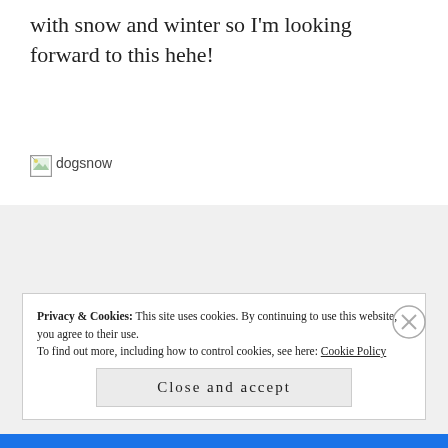with snow and winter so I'm looking forward to this hehe!
[Figure (photo): Broken image placeholder labeled 'dogsnow']
Privacy & Cookies: This site uses cookies. By continuing to use this website, you agree to their use.
To find out more, including how to control cookies, see here: Cookie Policy
Close and accept